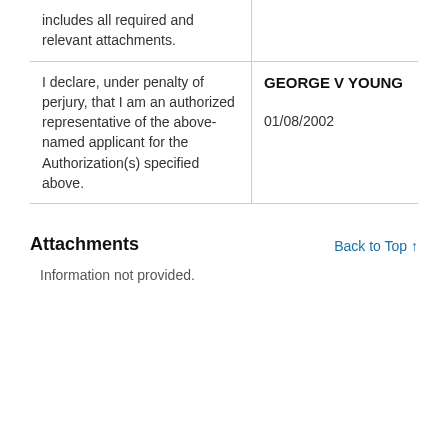| includes all required and relevant attachments. |  |
| I declare, under penalty of perjury, that I am an authorized representative of the above-named applicant for the Authorization(s) specified above. | GEORGE V YOUNG
01/08/2002 |
Attachments
Information not provided.